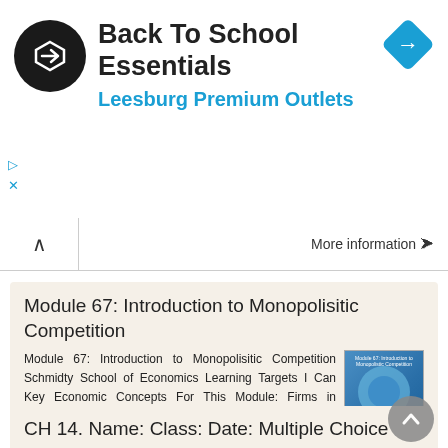[Figure (screenshot): Ad banner for 'Back To School Essentials' at Leesburg Premium Outlets with a black circular logo with arrow and a blue diamond navigation icon]
More information →
Module 67: Introduction to Monopolisitic Competition
Module 67: Introduction to Monopolisitic Competition Schmidty School of Economics Learning Targets I Can Key Economic Concepts For This Module: Firms in monopolistic competition have downward sloping demand
More information →
CH 14. Name: Class: Date: Multiple Choice Identify the choice that best completes the